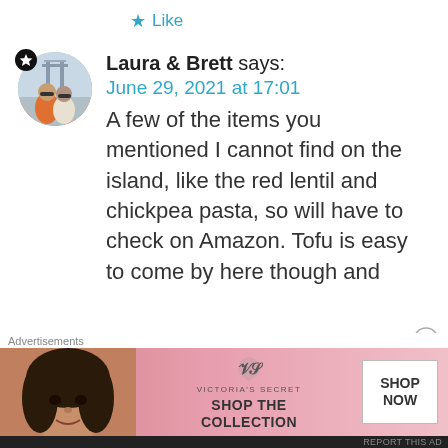★ Like
Laura & Brett says:
June 29, 2021 at 17:01
A few of the items you mentioned I cannot find on the island, like the red lentil and chickpea pasta, so will have to check on Amazon. Tofu is easy to come by here though and
[Figure (photo): Avatar photo of two people in front of a bridge, with a black badge with a star icon in the top-left]
Advertisements
[Figure (photo): Victoria's Secret advertisement banner with a woman's face on the left, VS logo and 'SHOP THE COLLECTION' text in the middle, and a 'SHOP NOW' button on the right, pink background]